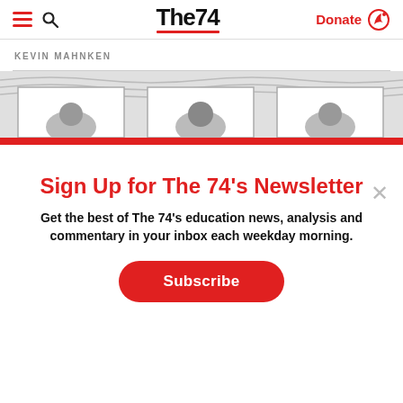The74 | Donate
KEVIN MAHNKEN
[Figure (photo): Three framed portrait photos of people, displayed side by side in a strip with a red bar at the bottom]
Sign Up for The 74's Newsletter
Get the best of The 74's education news, analysis and commentary in your inbox each weekday morning.
Subscribe